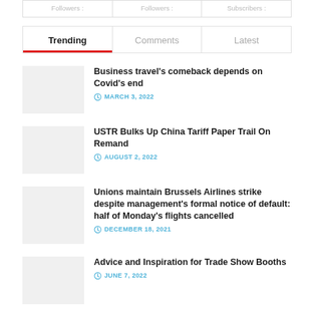| Followers : | Followers : | Subscribers : |
| --- | --- | --- |
|  |
Trending | Comments | Latest
Business travel's comeback depends on Covid's end — MARCH 3, 2022
USTR Bulks Up China Tariff Paper Trail On Remand — AUGUST 2, 2022
Unions maintain Brussels Airlines strike despite management's formal notice of default: half of Monday's flights cancelled — DECEMBER 18, 2021
Advice and Inspiration for Trade Show Booths — JUNE 7, 2022